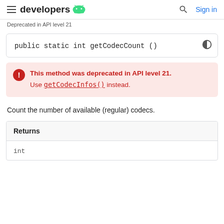developers | Sign in
Deprecated in API level 21
This method was deprecated in API level 21. Use getCodecInfos() instead.
Count the number of available (regular) codecs.
| Returns |
| --- |
| int |